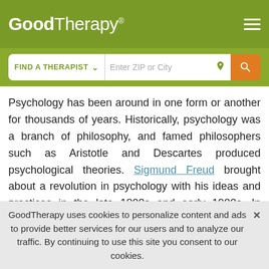GoodTherapy®
Psychology has been around in one form or another for thousands of years. Historically, psychology was a branch of philosophy, and famed philosophers such as Aristotle and Descartes produced psychological theories. Sigmund Freud brought about a revolution in psychology with his ideas and practices in the late 1800s and early 1900s. In modern times, psychology has increasingly become more scientific and evidence-based. Where psychologists of 500 years ago might come to conclusions via syllogisms and argument, modern psychologists rely much more heavily on empirical data and
GoodTherapy uses cookies to personalize content and ads to provide better services for our users and to analyze our traffic. By continuing to use this site you consent to our cookies.